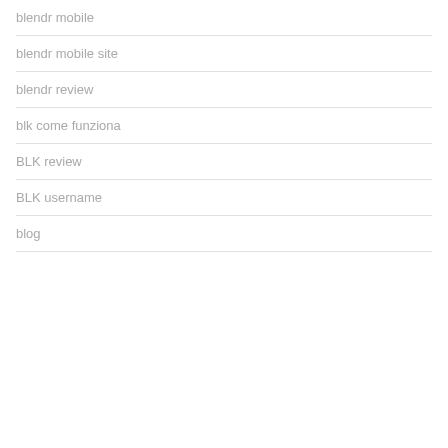blendr mobile
blendr mobile site
blendr review
blk come funziona
BLK review
BLK username
blog